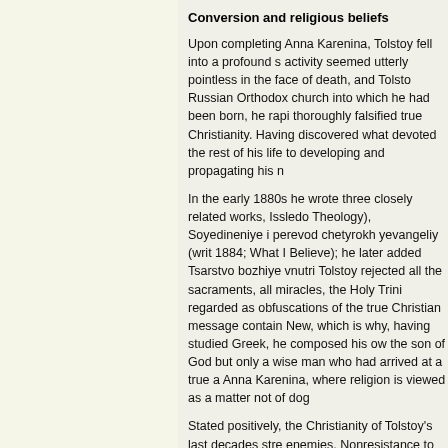Conversion and religious beliefs
Upon completing Anna Karenina, Tolstoy fell into a profound s activity seemed utterly pointless in the face of death, and Tolsto Russian Orthodox church into which he had been born, he rapi thoroughly falsified true Christianity. Having discovered what devoted the rest of his life to developing and propagating his n
In the early 1880s he wrote three closely related works, Issledo Theology), Soyedineniye i perevod chetyrokh yevangeliy (writ 1884; What I Believe); he later added Tsarstvo bozhiye vnutri Tolstoy rejected all the sacraments, all miracles, the Holy Trini regarded as obfuscations of the true Christian message contain New, which is why, having studied Greek, he composed his ow the son of God but only a wise man who had arrived at a true a Anna Karenina, where religion is viewed as a matter not of dog
Stated positively, the Christianity of Tolstoy's last decades stre enemies. Nonresistance to evil, the doctrine that inspired Gand especially violence. Thus Tolstoy became a pacifist. Because g anarchist. He enjoined his followers not only to refuse military had to go through considerable inner conflict when it came tim may be said that Tolstoy was well aware that he did not succee
Tolstoy based the prescription against oaths (including promise